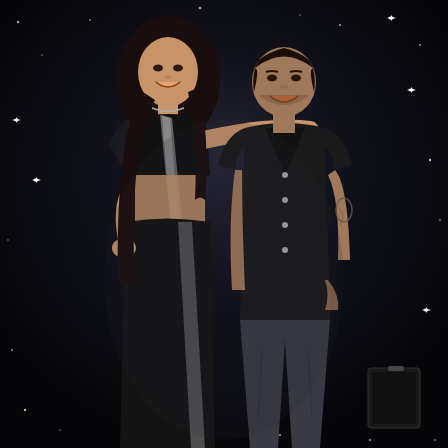[Figure (photo): A man and a woman standing together posing for a photo against a dark black backdrop with small white star/sparkle lights. The woman on the left is wearing a black Indian outfit (lehenga/saree style) with silver embellishments, showing a midriff, with long dark curly hair, smiling. The man on the right is wearing a black short-sleeve button-up shirt and dark grey trousers, with a tattoo on his right arm, smiling, with his arm around the woman's shoulder.]